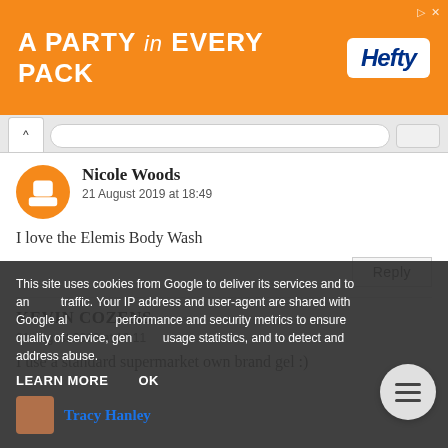[Figure (other): Hefty brand advertisement banner: orange background with white text 'A PARTY in EVERY PACK' and Hefty logo in white rounded rectangle on the right]
Nicole Woods
21 August 2019 at 18:49
I love the Elemis Body Wash
Reply
KEVIN COZENS
21 August 2019 at 19:11
I use a standard supermarket own brand gel :)
This site uses cookies from Google to deliver its services and to analyze traffic. Your IP address and user-agent are shared with Google along with performance and security metrics to ensure quality of service, generate usage statistics, and to detect and address abuse.
LEARN MORE
OK
Tracy Hanley